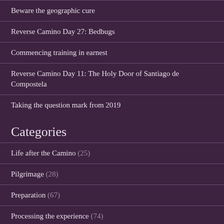Beware the geographic cure
Reverse Camino Day 27: Bedbugs
Commencing training in earnest
Reverse Camino Day 11: The Holy Door of Santiago de Compostela
Taking the question mark from 2019
Categories
Life after the Camino (25)
Pilgrimage (28)
Preparation (67)
Processing the experience (74)
Uncategorized (18)